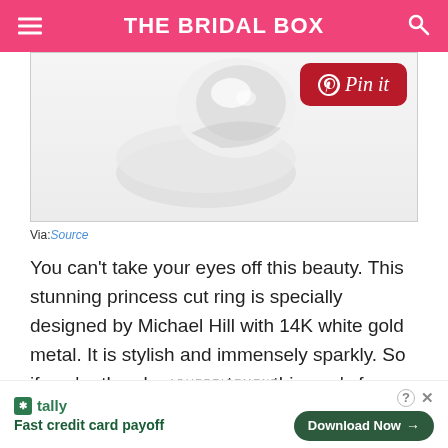THE BRIDAL BOX
[Figure (photo): Partial view of a princess cut diamond ring in white gold, with a Pinterest Pin it button overlay in the top right corner]
Via: Source
You can’t take your eyes off this beauty. This stunning princess cut ring is specially designed by Michael Hill with 14K white gold metal. It is stylish and immensely sparkly. So if you’re the glamorous type, this one’s for you.
ADVERTISEMENT
[Figure (screenshot): Tally app advertisement banner: Fast credit card payoff with Download Now button]